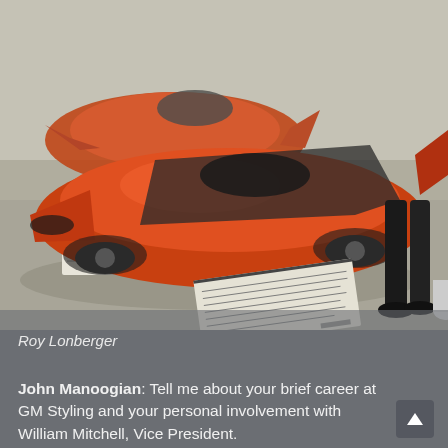[Figure (photo): Orange/copper-colored vintage GM concept sports car on display in a showroom or museum, low-slung aerodynamic body with sharp fins. A person in dark clothing stands beside it. A white placard/label card is visible on the floor in front of the car. Two cars visible — one in foreground, one in background.]
Roy Lonberger
John Manoogian: Tell me about your brief career at GM Styling and your personal involvement with William Mitchell, Vice President.